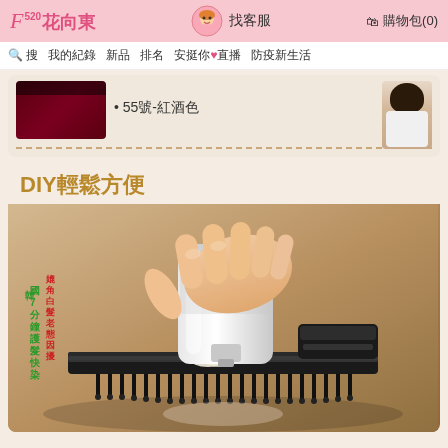F520花向東  找客服  購物包(0)
搜  我的紀錄  新品  排名  安挺你♥直播  防疫新生活
55號-紅酒色
[Figure (photo): DIY輕鬆方便 section showing a hand pressing a hair dye tube onto a black comb applicator brush. Overlay text in Chinese reads: 韓國7分鐘護髮快染 and 媲角白髮老態因擾]
DIY輕鬆方便